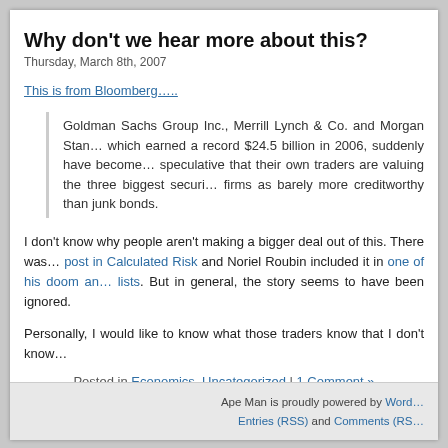Why don't we hear more about this?
Thursday, March 8th, 2007
This is from Bloomberg…..
Goldman Sachs Group Inc., Merrill Lynch & Co. and Morgan Stan… which earned a record $24.5 billion in 2006, suddenly have become… speculative that their own traders are valuing the three biggest securi… firms as barely more creditworthy than junk bonds.
I don't know why people aren't making a bigger deal out of this. There was… post in Calculated Risk and Noriel Roubin included it in one of his doom an… lists. But in general, the story seems to have been ignored.
Personally, I would like to know what those traders know that I don't know…
Posted in Economics, Uncategorized | 1 Comment »
« Older Entries
Ape Man is proudly powered by Word… Entries (RSS) and Comments (RS…